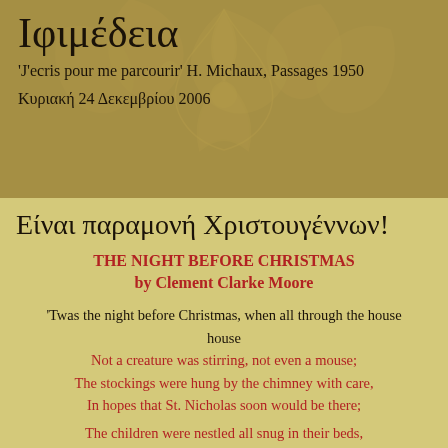Ιφιμέδεια
'J'ecris pour me parcourir' H. Michaux, Passages 1950
Κυριακή 24 Δεκεμβρίου 2006
Είναι παραμονή Χριστουγέννων!
THE NIGHT BEFORE CHRISTMAS
by Clement Clarke Moore
'Twas the night before Christmas, when all through the house
Not a creature was stirring, not even a mouse;
The stockings were hung by the chimney with care,
In hopes that St. Nicholas soon would be there;
The children were nestled all snug in their beds,